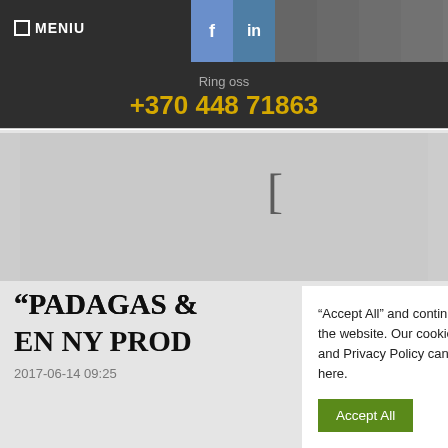☐ MENIU
[Figure (screenshot): Social media icon bar with Facebook and LinkedIn icons followed by grey placeholder icons]
Ring oss
+370 448 71863
[Figure (photo): Greyed out image placeholder area with a bracket symbol]
“PADAGAS & ... UCERAR EN NY PROD…
2017-06-14 09:25
"Accept All" and continue to use the website. Our cookie policy and Privacy Policy can be found here.
Accept All